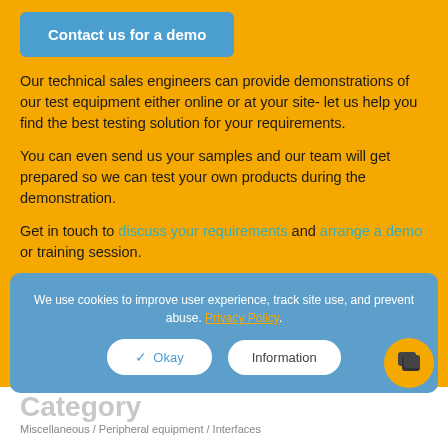[Figure (other): Blue rounded rectangle button labeled 'Contact us for a demo']
Our technical sales engineers can provide demonstrations of our test equipment either online or at your site- let us help you find the best testing solution for your requirements.
You can even send us your samples and our team will get prepared so we can test your own products during the demonstration.
Get in touch to discuss your requirements and arrange a demo or training session.
We use cookies to improve user experience, track site use, and prevent abuse. Privacy Policy.
Category
Miscellaneous / Peripheral equipment / Interfaces